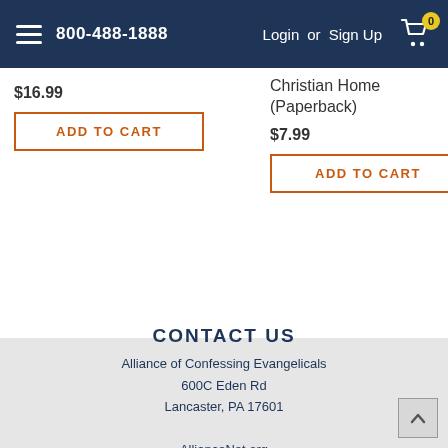800-488-1888  Login or Sign Up  0
Christian Home (Paperback)
$16.99
ADD TO CART
$7.99
ADD TO CART
CONTACT US
Alliance of Confessing Evangelicals
600C Eden Rd
Lancaster, PA 17601

AllianceNet.org